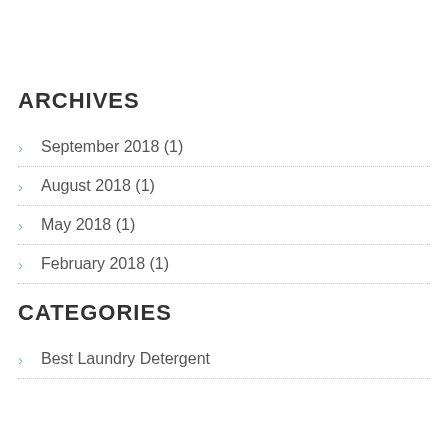ARCHIVES
September 2018 (1)
August 2018 (1)
May 2018 (1)
February 2018 (1)
CATEGORIES
Best Laundry Detergent